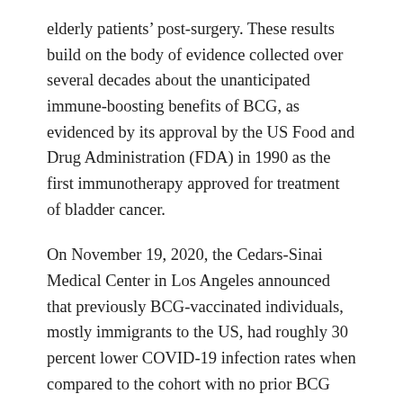elderly patients' post-surgery. These results build on the body of evidence collected over several decades about the unanticipated immune-boosting benefits of BCG, as evidenced by its approval by the US Food and Drug Administration (FDA) in 1990 as the first immunotherapy approved for treatment of bladder cancer.
On November 19, 2020, the Cedars-Sinai Medical Center in Los Angeles announced that previously BCG-vaccinated individuals, mostly immigrants to the US, had roughly 30 percent lower COVID-19 infection rates when compared to the cohort with no prior BCG vaccination, mostly local-born Americans, despite having a 34 percent higher rate of co-morbidities.
Optimism about BCG stems from the recently published results of a retrospective study done with healthcare workers in Los Angeles as well